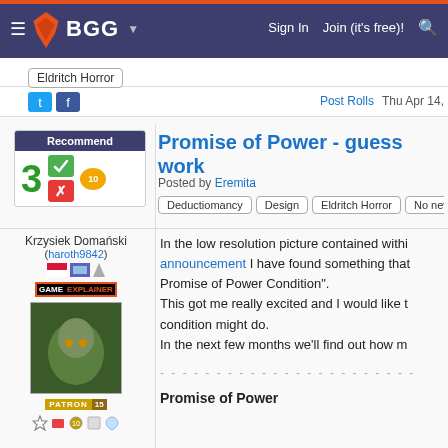BGG — BoardGameGeek navigation bar
Eldritch Horror
[Figure (logo): Twitter and Facebook social icons]
Post Rolls   Thu Apr 14,
Promise of Power - guess work
Posted by Eremita
Deductiomancy   Design   Eldritch Horror   No new
Recommend 3
Krzysiek Domański (haroth9842)
In the low resolution picture contained withi announcement I have found something that Promise of Power Condition". This got me really excited and I would like t condition might do. In the next few months we'll find out how m
- - - - - - - - - - - - - - - - - - - - - - -
Promise of Power